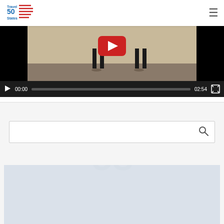Travel 50 States
[Figure (screenshot): Video player showing two people standing on a beach with a red YouTube play button overlay, with video controls showing 00:00 / 02:54 and a progress bar]
[Figure (screenshot): Search box with a magnifying glass icon]
[Figure (screenshot): Travel 50 States Journal Collection banner with blue and red text on a light blue background]